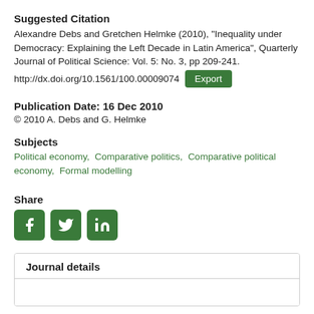Suggested Citation
Alexandre Debs and Gretchen Helmke (2010), "Inequality under Democracy: Explaining the Left Decade in Latin America", Quarterly Journal of Political Science: Vol. 5: No. 3, pp 209-241. http://dx.doi.org/10.1561/100.00009074
Export
Publication Date: 16 Dec 2010
© 2010 A. Debs and G. Helmke
Subjects
Political economy,  Comparative politics,  Comparative political economy,  Formal modelling
Share
[Figure (other): Social share buttons for Facebook, Twitter, LinkedIn]
Journal details